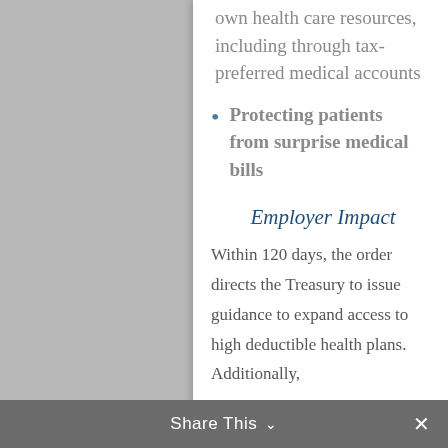own health care resources, including through tax-preferred medical accounts
Protecting patients from surprise medical bills
Employer Impact
Within 120 days, the order directs the Treasury to issue guidance to expand access to high deductible health plans. Additionally,
Share This ∨  ✕